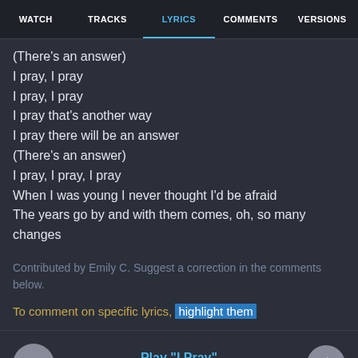WATCH  TRACKS  LYRICS  COMMENTS  VERSIONS
(There's an answer)
I pray, I pray
I pray, I pray
I pray that's another way
I pray there will be an answer
(There's an answer)
I pray, I pray, I pray
When I was young I never thought I'd be afraid
The years go by and with them comes, oh, so many changes
Contributed by Emily C. Suggest a correction in the comments below.
To comment on specific lyrics, highlight them
[Figure (other): Music player bar with play button, Apple Music text, and volume button. Shows Play "I Pray" on Apple Music.]